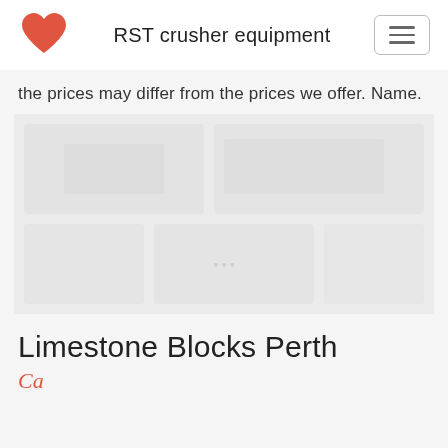RST crusher equipment
the prices may differ from the prices we offer. Name.
[Figure (photo): Faded/washed-out photo of limestone blocks or crusher equipment, appears very light/overexposed]
Limestone Blocks Perth
script/cursive text partially visible at bottom